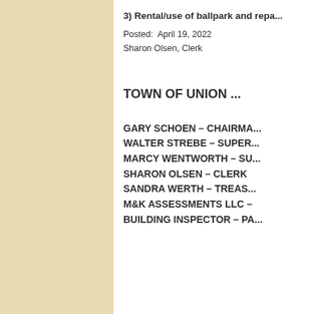3) Rental/use of ballpark and repa...
Posted:  April 19, 2022
Sharon Olsen, Clerk
TOWN OF UNION ...
GARY SCHOEN – CHAIRMA...
WALTER STREBE – SUPER...
MARCY WENTWORTH – SU...
SHARON OLSEN – CLERK
SANDRA WERTH – TREAS...
M&K ASSESSMENTS LLC –
BUILDING INSPECTOR – PA...